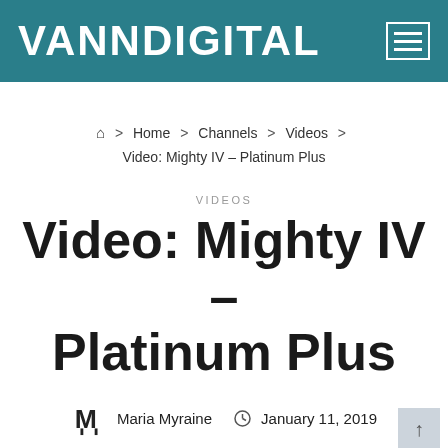VANNDIGITAL
Home > Channels > Videos > Video: Mighty IV – Platinum Plus
VIDEOS
Video: Mighty IV – Platinum Plus
Maria Myraine   January 11, 2019